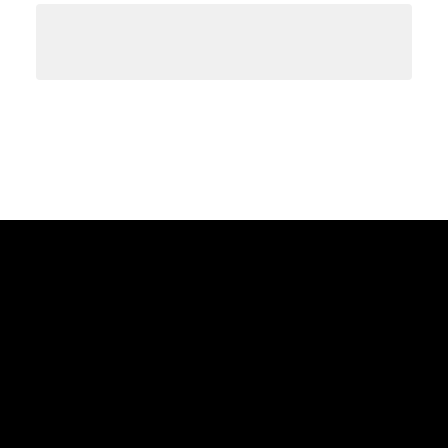[Figure (screenshot): Gray rectangular bar at the top of the page against a white background, representing a UI element or header area.]
We value your privacy
We use cookies on our website to give you the most relevant experience by remembering your preferences and repeat visits. By clicking "Accept All", you consent to the use of ALL the cookies. However, you may visit "Cookie Settings" to provide a controlled consent.
Cookie Settings
Accept All
Sus